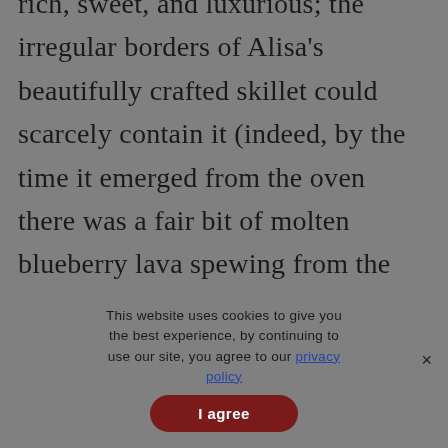rich, sweet, and luxurious; the irregular borders of Alisa's beautifully crafted skillet could scarcely contain it (indeed, by the time it emerged from the oven there was a fair bit of molten blueberry lava spewing from the Rigolets). But no matter; we ate it with ice cream, sitting on the back porch
This website uses cookies to give you the best experience, by continuing to use our site, you agree to our privacy policy
I agree